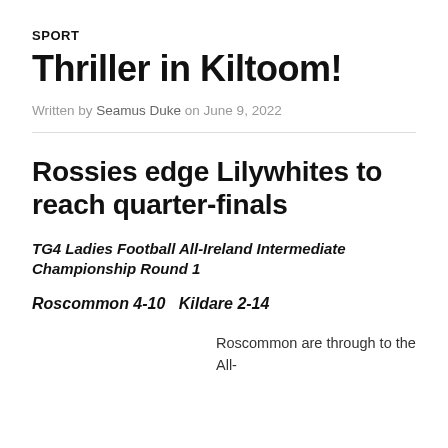SPORT
Thriller in Kiltoom!
Written by Seamus Duke on June 9, 2022
Rossies edge Lilywhites to reach quarter-finals
TG4 Ladies Football All-Ireland Intermediate Championship Round 1
Roscommon 4-10   Kildare 2-14
Roscommon are through to the All-